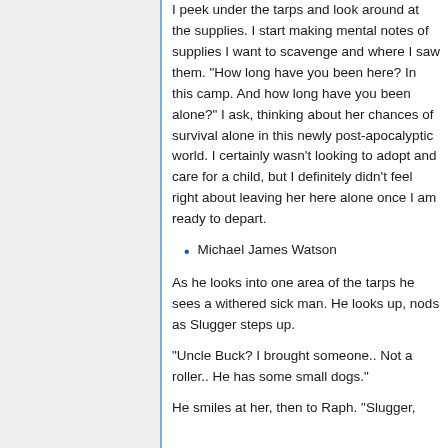I peek under the tarps and look around at the supplies. I start making mental notes of supplies I want to scavenge and where I saw them. "How long have you been here? In this camp. And how long have you been alone?" I ask, thinking about her chances of survival alone in this newly post-apocalyptic world. I certainly wasn't looking to adopt and care for a child, but I definitely didn't feel right about leaving her here alone once I am ready to depart.
Michael James Watson
As he looks into one area of the tarps he sees a withered sick man. He looks up, nods as Slugger steps up.
"Uncle Buck? I brought someone.. Not a roller.. He has some small dogs."
He smiles at her, then to Raph. "Slugger,